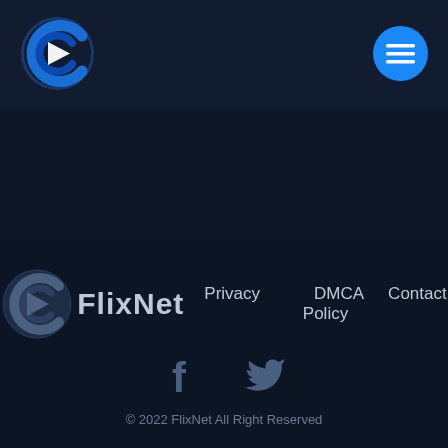[Figure (logo): FlixNet logo in header - circular C-shaped icon with blue gradient and white play triangle, on dark navy background]
[Figure (logo): Hamburger menu button - blue circle with three white horizontal lines]
[Figure (logo): FlixNet footer logo and brand name with nav links: Privacy Policy, DMCA, Contact]
[Figure (logo): Facebook and Twitter social media icons in muted blue-gray]
© 2022 FlixNet All Right Reserved